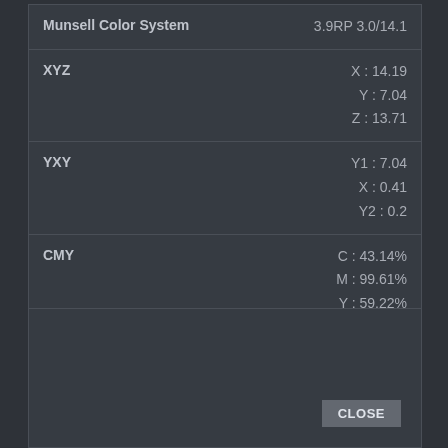| System | Value |
| --- | --- |
| Munsell Color System | 3.9RP 3.0/14.1 |
| XYZ | X : 14.19
Y : 7.04
Z : 13.71 |
| YXY | Y1 : 7.04
X : 0.41
Y2 : 0.2 |
| CMY | C : 43.14%
M : 99.61%
Y : 59.22% |
CLOSE